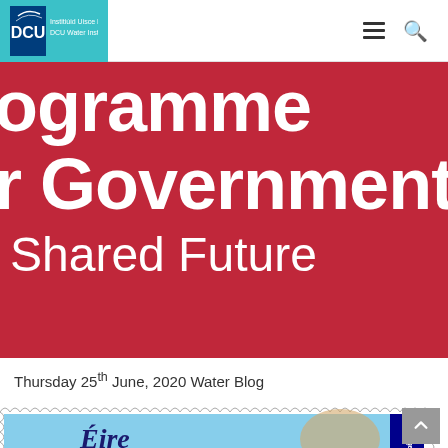DCU Water Institute
[Figure (screenshot): Red hero banner with white bold text reading 'ogramme' on first line, 'r Government' on second line, and 'Shared Future' on third line — part of a Programme for Government title card]
Thursday 25th June, 2020 Water Blog
[Figure (photo): Irish postage stamp showing 'ÉIRE' with an illustrated figure, partially cut off at bottom of page. Sidebar text reads 'Legends / scéalta']